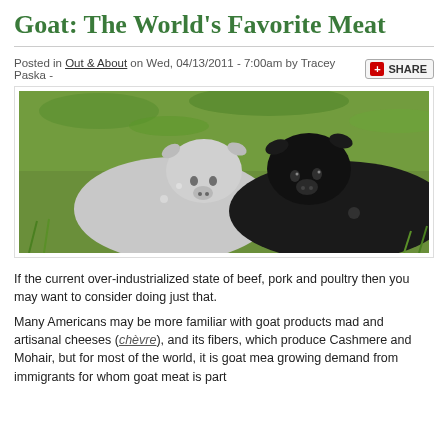Goat: The World's Favorite Meat
Posted in Out & About on Wed, 04/13/2011 - 7:00am by Tracey Paska -
[Figure (photo): Two young goats lying together on grass — one grey/white and one black — looking at the camera]
If the current over-industrialized state of beef, pork and poultry then you may want to consider doing just that.
Many Americans may be more familiar with goat products made and artisanal cheeses (chèvre), and its fibers, which produce Cashmere and Mohair, but for most of the world, it is goat meat... growing demand from immigrants for whom goat meat is part...